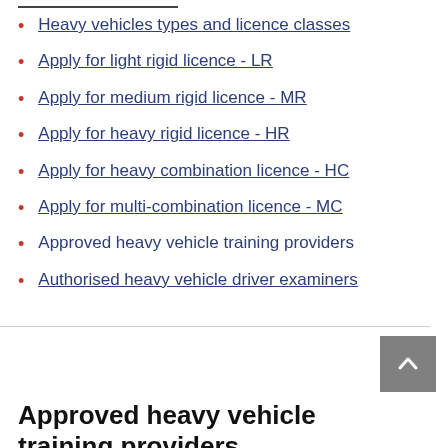Heavy vehicles types and licence classes
Apply for light rigid licence - LR
Apply for medium rigid licence - MR
Apply for heavy rigid licence - HR
Apply for heavy combination licence - HC
Apply for multi-combination licence - MC
Approved heavy vehicle training providers
Authorised heavy vehicle driver examiners
Approved heavy vehicle training providers